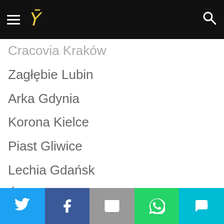C [logo]
Cracovia Kraków
Zagłębie Lubin
Arka Gdynia
Korona Kielce
Piast Gliwice
Lechia Gdańsk
Śląsk Wrocław
Bruk-Bet Termalica Nieciecza
RUSSIAN LEAGUE
CSKA Moskva
Krylja Sovetov Samara